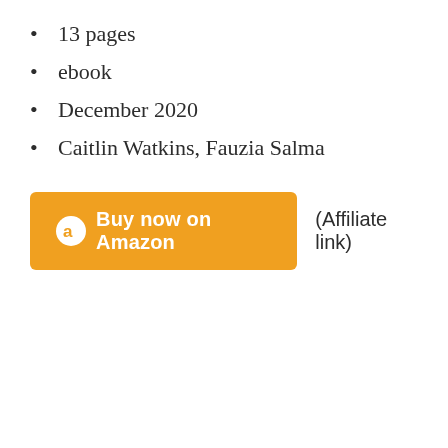13 pages
ebook
December 2020
Caitlin Watkins, Fauzia Salma
Buy now on Amazon  (Affiliate link)